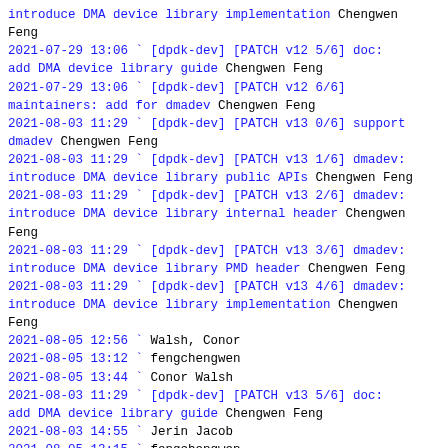introduce DMA device library implementation Chengwen Feng
2021-07-29 13:06   ` [dpdk-dev] [PATCH v12 5/6] doc: add DMA device library guide Chengwen Feng
2021-07-29 13:06   ` [dpdk-dev] [PATCH v12 6/6] maintainers: add for dmadev Chengwen Feng
2021-08-03 11:29 ` [dpdk-dev] [PATCH v13 0/6] support dmadev Chengwen Feng
2021-08-03 11:29   ` [dpdk-dev] [PATCH v13 1/6] dmadev: introduce DMA device library public APIs Chengwen Feng
2021-08-03 11:29   ` [dpdk-dev] [PATCH v13 2/6] dmadev: introduce DMA device library internal header Chengwen Feng
2021-08-03 11:29   ` [dpdk-dev] [PATCH v13 3/6] dmadev: introduce DMA device library PMD header Chengwen Feng
2021-08-03 11:29   ` [dpdk-dev] [PATCH v13 4/6] dmadev: introduce DMA device library implementation Chengwen Feng
2021-08-05 12:56         ` Walsh, Conor
2021-08-05 13:12           ` fengchengwen
2021-08-05 13:44           ` Conor Walsh
2021-08-03 11:29   ` [dpdk-dev] [PATCH v13 5/6] doc: add DMA device library guide Chengwen Feng
2021-08-03 14:55         ` Jerin Jacob
2021-08-05 13:15           ` fengchengwen
2021-08-03 11:29   ` [dpdk-dev] [PATCH v13 6/6] maintainers: add for dmadev Chengwen Feng
2021-08-03 11:46   ` [dpdk-dev] [PATCH v13 0/6] support dmadev fengchengwen
2021-08-10 11:54 ` [dpdk-dev] [PATCH v14 " Chengwen